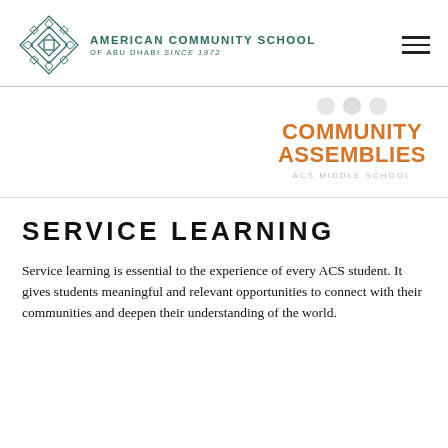[Figure (logo): American Community School of Abu Dhabi geometric teal logo mark with diamond/star pattern]
AMERICAN COMMUNITY SCHOOL
OF ABU DHABI SINCE 1972
[Figure (infographic): Community Assemblies ACS Middle School banner with orange bold text and icon]
SERVICE LEARNING
Service learning is essential to the experience of every ACS student. It gives students meaningful and relevant opportunities to connect with their communities and deepen their understanding of the world.